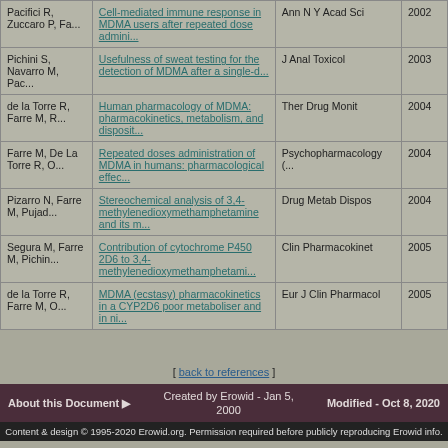| Authors | Title | Journal | Year |
| --- | --- | --- | --- |
| Pacifici R, Zuccaro P, Fa... | Cell-mediated immune response in MDMA users after repeated dose admini... | Ann N Y Acad Sci | 2002 |
| Pichini S, Navarro M, Pac... | Usefulness of sweat testing for the detection of MDMA after a single-d... | J Anal Toxicol | 2003 |
| de la Torre R, Farre M, R... | Human pharmacology of MDMA: pharmacokinetics, metabolism, and disposit... | Ther Drug Monit | 2004 |
| Farre M, De La Torre R, O... | Repeated doses administration of MDMA in humans: pharmacological effec... | Psychopharmacology (... | 2004 |
| Pizarro N, Farre M, Pujad... | Stereochemical analysis of 3,4-methylenedioxymethamphetamine and its m... | Drug Metab Dispos | 2004 |
| Segura M, Farre M, Pichin... | Contribution of cytochrome P450 2D6 to 3,4-methylenedioxymethamphetami... | Clin Pharmacokinet | 2005 |
| de la Torre R, Farre M, O... | MDMA (ecstasy) pharmacokinetics in a CYP2D6 poor metaboliser and in ni... | Eur J Clin Pharmacol | 2005 |
[ back to references ]
About this Document ▶   Created by Erowid - Jan 5, 2000   Modified - Oct 8, 2020
Content & design © 1995-2020 Erowid.org. Permission required before publicly reproducing Erowid info.